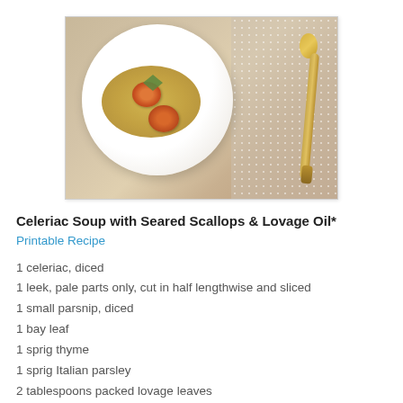[Figure (photo): A white bowl of golden soup with two seared scallops and a herb garnish, with a vintage gold spoon on a dotted napkin beside the bowl.]
Celeriac Soup with Seared Scallops & Lovage Oil*
Printable Recipe
1 celeriac, diced
1 leek, pale parts only, cut in half lengthwise and sliced
1 small parsnip, diced
1 bay leaf
1 sprig thyme
1 sprig Italian parsley
2 tablespoons packed lovage leaves
4 to 5 tablespoons extra-virgin olive oil